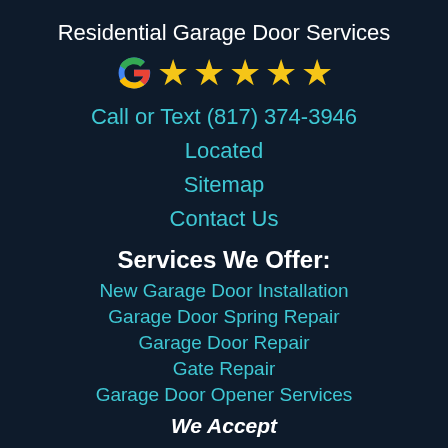Residential Garage Door Services
[Figure (logo): Google G logo followed by five gold stars rating]
Call or Text (817) 374-3946
Located
Sitemap
Contact Us
Services We Offer:
New Garage Door Installation
Garage Door Spring Repair
Garage Door Repair
Gate Repair
Garage Door Opener Services
We Accept